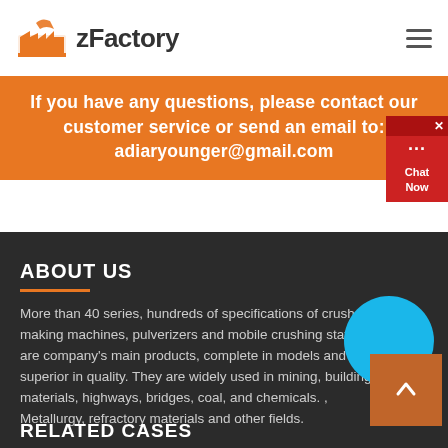zFactory
If you have any questions, please contact our customer service or send an email to: adiaryounger@gmail.com
ABOUT US
More than 40 series, hundreds of specifications of crushers, making machines, pulverizers and mobile crushing stations are company's main products, complete in models and superior in quality. They are widely used in mining, building materials, highways, bridges, coal, and chemicals. , Metallurgy, refractory materials and other fields.
RELATED CASES